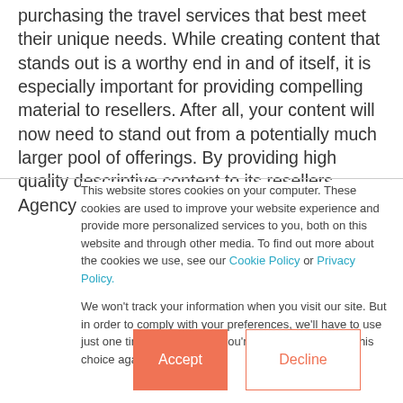purchasing the travel services that best meet their unique needs. While creating content that stands out is a worthy end in and of itself, it is especially important for providing compelling material to resellers. After all, your content will now need to stand out from a potentially much larger pool of offerings. By providing high quality descriptive content to its resellers, Agency A stands to give themselves an
This website stores cookies on your computer. These cookies are used to improve your website experience and provide more personalized services to you, both on this website and through other media. To find out more about the cookies we use, see our Cookie Policy or Privacy Policy.

We won't track your information when you visit our site. But in order to comply with your preferences, we'll have to use just one tiny cookie so that you're not asked to make this choice again.